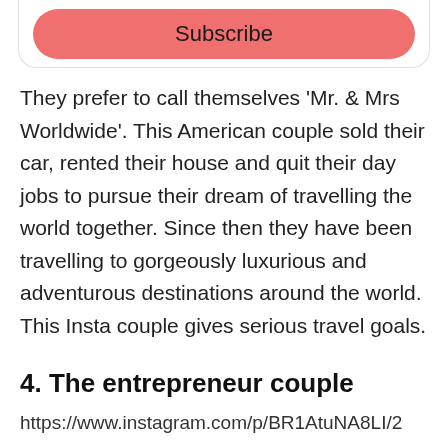[Figure (other): Subscribe button UI element inside a rounded box]
They prefer to call themselves ‘Mr. & Mrs Worldwide’. This American couple sold their car, rented their house and quit their day jobs to pursue their dream of travelling the world together. Since then they have been travelling to gorgeously luxurious and adventurous destinations around the world. This Insta couple gives serious travel goals.
4. The entrepreneur couple
https://www.instagram.com/p/BR1AtuNA8LI/2